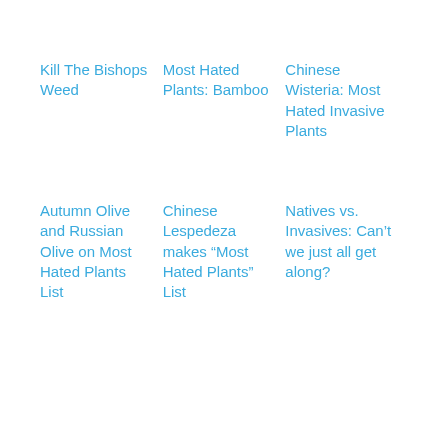Kill The Bishops Weed
Most Hated Plants: Bamboo
Chinese Wisteria: Most Hated Invasive Plants
Autumn Olive and Russian Olive on Most Hated Plants List
Chinese Lespedeza makes “Most Hated Plants” List
Natives vs. Invasives: Can’t we just all get along?